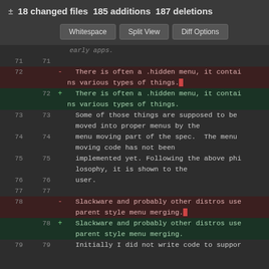± 18 changed files  185 additions  187 deletions
[Figure (screenshot): Git diff view showing code changes with line numbers, deletion rows (red background), and addition rows (green background). Buttons: Whitespace, Split View, Diff Options. Lines 71-79 of a text file showing menu-related documentation changes.]